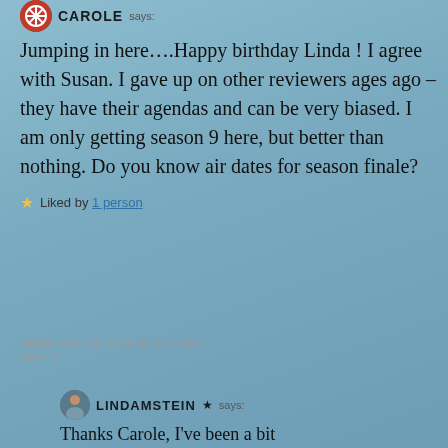CAROLE says:
Jumping in here….Happy birthday Linda ! I agree with Susan. I gave up on other reviewers ages ago – they have their agendas and can be very biased. I am only getting season 9 here, but better than nothing. Do you know air dates for season finale?
Liked by 1 person
FEBRUARY 19, 2020 AT 9:23 PM | REPLY
LINDAMSTEIN says:
Thanks Carole, I've been a bit